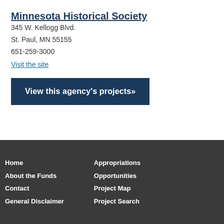Minnesota Historical Society
345 W. Kellogg Blvd.
St. Paul, MN 55155
651-259-3000
Visit the site
View this agency's projects»
Home  About the Funds  Contact  General Disclaimer  Appropriations  Opportunities  Project Map  Project Search